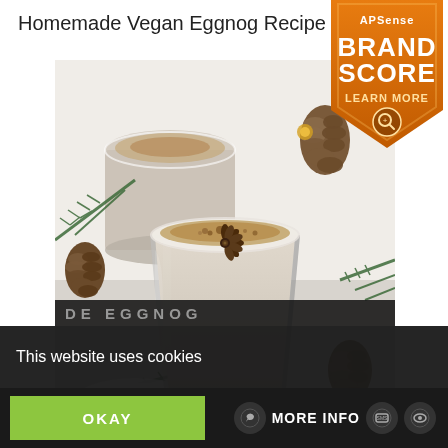Homemade Vegan Eggnog Recipe
[Figure (logo): APSense Brand Score badge - orange shield shape with text 'APSense BRAND SCORE LEARN MORE' and a magnifier icon]
[Figure (photo): Two glasses of vegan eggnog topped with cinnamon powder and a star anise, surrounded by pine branches and pine cones on a white surface]
This website uses cookies
OKAY
MORE INFO